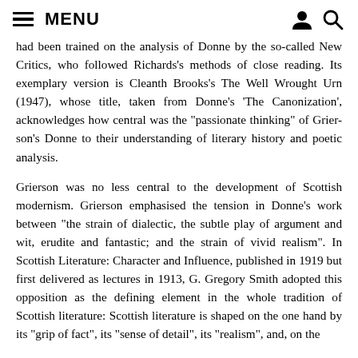MENU
had been trained on the analysis of Donne by the so-called New Critics, who followed Richards’s methods of close reading. Its exemplary version is Cleanth Brooks’s The Well Wrought Urn (1947), whose title, taken from Donne’s ‘The Canonization’, acknowledges how central was the “passionate thinking” of Grier-son’s Donne to their understanding of literary history and poetic analysis.
Grierson was no less central to the development of Scottish modernism. Grierson emphasised the tension in Donne’s work between “the strain of dialectic, the subtle play of argument and wit, erudite and fantastic; and the strain of vivid realism”. In Scottish Literature: Character and Influence, published in 1919 but first delivered as lectures in 1913, G. Gregory Smith adopted this opposition as the defining element in the whole tradition of Scottish literature: Scottish literature is shaped on the one hand by its “grip of fact”, its “sense of detail”, its “realism”, and, on the